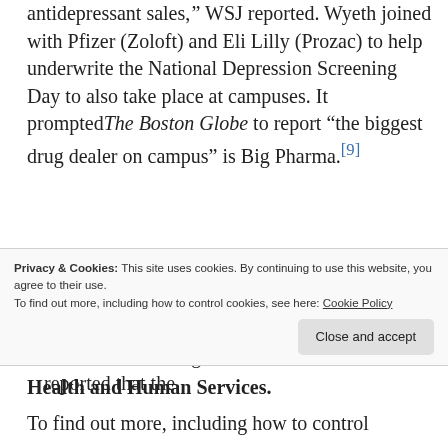antidepressant sales," WSJ reported. Wyeth joined with Pfizer (Zoloft) and Eli Lilly (Prozac) to help underwrite the National Depression Screening Day to also take place at campuses. It prompted The Boston Globe to report "the biggest drug dealer on campus" is Big Pharma.[9]
Up to 2008, SMH had received nearly $5 million from pharmaceutical companies. Lilly gave them $124,000 in 2007 and $100,000 in 2008.[10] According to a 2006 article IPS reported that the...
Health and Human Services.
To find out more, including how to control cookies, see here: Cookie Policy